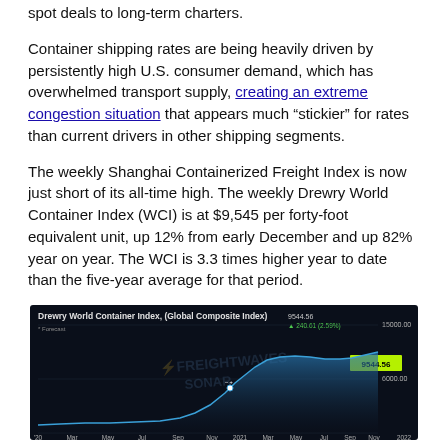spot deals to long-term charters.
Container shipping rates are being heavily driven by persistently high U.S. consumer demand, which has overwhelmed transport supply, creating an extreme congestion situation that appears much “stickier” for rates than current drivers in other shipping segments.
The weekly Shanghai Containerized Freight Index is now just short of its all-time high. The weekly Drewry World Container Index (WCI) is at $9,545 per forty-foot equivalent unit, up 12% from early December and up 82% year on year. The WCI is 3.3 times higher year to date than the five-year average for that period.
[Figure (continuous-plot): Drewry World Container Index (Global Composite Index) line chart from 2020 to 2022, showing the index rising sharply from 2021 and reaching near 9544.56 (up 240.61 / 2.59%) with a y-axis scale up to 15000 and a marker at 6000. FreightWaves SONAR watermark visible. Dark background with teal/blue area chart line.]